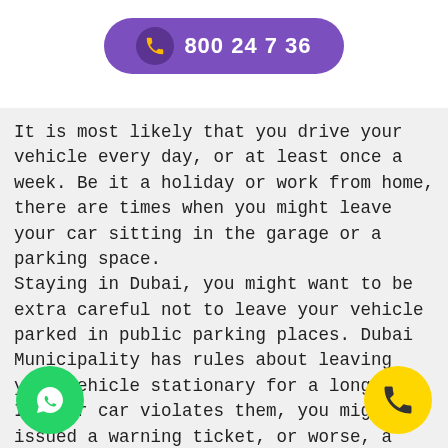[Figure (other): Purple rounded button with phone icon and number 800 24 7 36]
It is most likely that you drive your vehicle every day, or at least once a week. Be it a holiday or work from home, there are times when you might leave your car sitting in the garage or a parking space.
Staying in Dubai, you might want to be extra careful not to leave your vehicle parked in public parking places. Dubai Municipality has rules about leaving your vehicle stationary for a long time. If your car violates them, you might be issued a warning ticket, or worse, a fine of AED 500.
g your car parked for a long time bad for your pocket but also bad for your
[Figure (other): Green circular WhatsApp icon button at bottom left]
[Figure (other): Yellow circular phone icon button at bottom right]